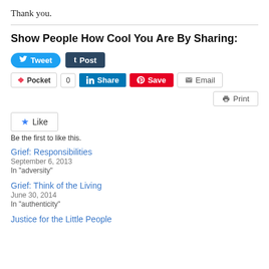Thank you.
Show People How Cool You Are By Sharing:
[Figure (infographic): Social sharing buttons: Tweet, Post (Tumblr), Pocket (with count 0), LinkedIn Share, Pinterest Save, Email, Print]
[Figure (infographic): Like button with star icon]
Be the first to like this.
Grief: Responsibilities
September 6, 2013
In "adversity"
Grief: Think of the Living
June 30, 2014
In "authenticity"
Justice for the Little People